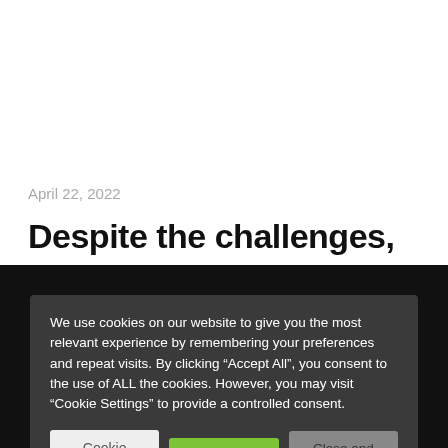April 22, 2022
Despite the challenges,
We use cookies on our website to give you the most relevant experience by remembering your preferences and repeat visits. By clicking “Accept All”, you consent to the use of ALL the cookies. However, you may visit “Cookie Settings” to provide a controlled consent.
Privacy & Cookies: This site uses cookies. By continuing to use this website, you agree to their use. To find out more, including how to control cookies, see here: Cookie Policy
Cookie Settings | Accept All | Close and accept